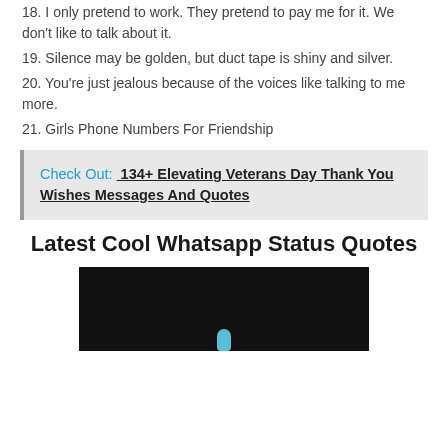18. I only pretend to work. They pretend to pay me for it. We don't like to talk about it.
19. Silence may be golden, but duct tape is shiny and silver.
20. You're just jealous because of the voices like talking to me more.
21. Girls Phone Numbers For Friendship
Check Out: 134+ Elevating Veterans Day Thank You Wishes Messages And Quotes
Latest Cool Whatsapp Status Quotes
[Figure (photo): Dark background image with a small light blue figure/icon at the bottom center, appearing to be a WhatsApp status related image.]